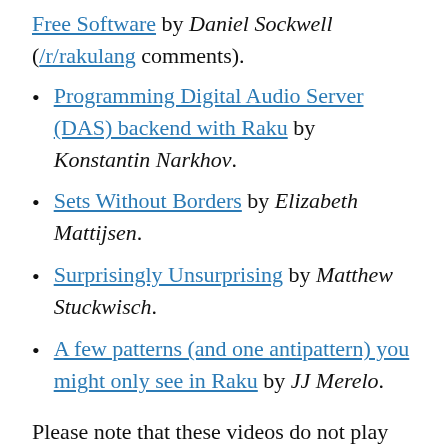Free Software by Daniel Sockwell (/r/rakulang comments).
Programming Digital Audio Server (DAS) backend with Raku by Konstantin Narkhov.
Sets Without Borders by Elizabeth Mattijsen.
Surprisingly Unsurprising by Matthew Stuckwisch.
A few patterns (and one antipattern) you might only see in Raku by JJ Merelo.
Please note that these videos do not play well on some browsers: a recent Chromium browser appears to be recommended for viewing these.